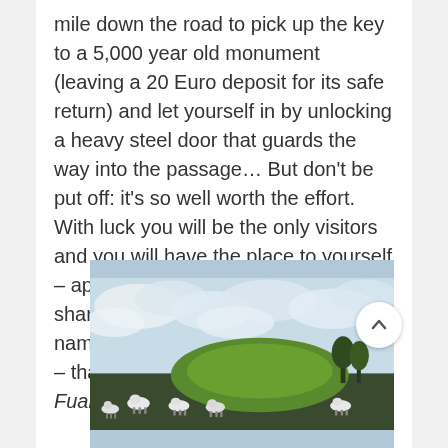mile down the road to pick up the key to a 5,000 year old monument (leaving a 20 Euro deposit for its safe return) and let yourself in by unlocking a heavy steel door that guards the way into the passage… But don't be put off: it's so well worth the effort. With luck you will be the only visitors and you will have the place to yourself – apart from the sheep families who share the field with Fourknocks. The name probably means 'The Cold Hills' – that's the translation of the Irish Fuair Cnoc.
[Figure (photo): Outdoor photo showing a green mound (passage tomb) under a cloudy sky with sheep in the foreground]